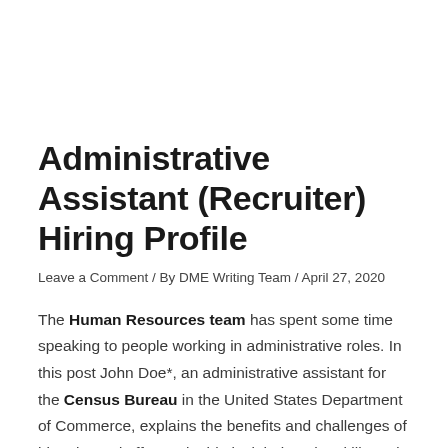Administrative Assistant (Recruiter) Hiring Profile
Leave a Comment / By DME Writing Team / April 27, 2020
The Human Resources team has spent some time speaking to people working in administrative roles. In this post John Doe*, an administrative assistant for the Census Bureau in the United States Department of Commerce, explains the benefits and challenges of his role, and offers valuable insight into the skills and